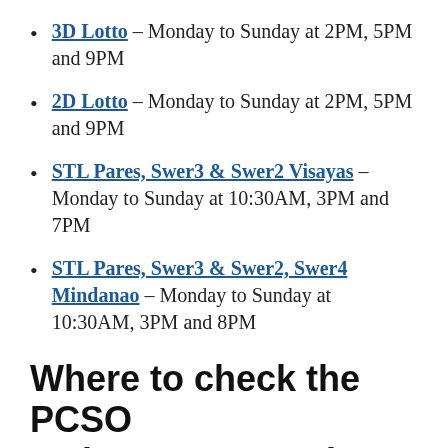3D Lotto – Monday to Sunday at 2PM, 5PM and 9PM
2D Lotto – Monday to Sunday at 2PM, 5PM and 9PM
STL Pares, Swer3 & Swer2 Visayas – Monday to Sunday at 10:30AM, 3PM and 7PM
STL Pares, Swer3 & Swer2, Swer4 Mindanao – Monday to Sunday at 10:30AM, 3PM and 8PM
Where to check the PCSO major Lotto Results?